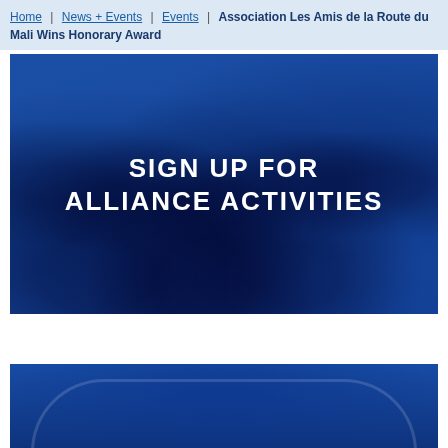Home | News + Events | Events | Association Les Amis de la Route du Mali Wins Honorary Award
[Figure (photo): Group photo of many people with a blue overlay filter, overlaid with the text 'SIGN UP FOR ALLIANCE ACTIVITIES' in large white bold letters]
[Figure (photo): Partial photo of an architectural or circular structure with blue overlay filter, cropped at bottom of page]